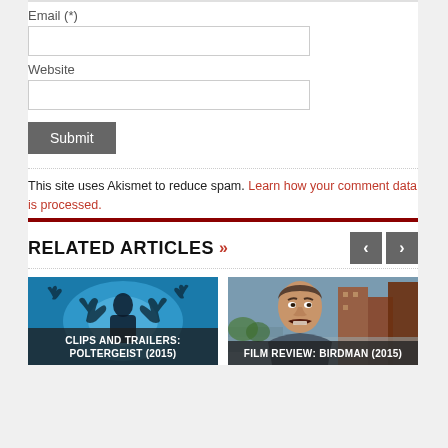Email (*)
Website
Submit
This site uses Akismet to reduce spam. Learn how your comment data is processed.
RELATED ARTICLES »
[Figure (photo): Movie thumbnail for Clips and Trailers: Poltergeist (2015) — dark silhouette figure with hands against a glowing blue background]
CLIPS AND TRAILERS: POLTERGEIST (2015)
[Figure (photo): Movie thumbnail for Film Review: Birdman (2015) — man in street scene with buildings in background]
FILM REVIEW: BIRDMAN (2015)